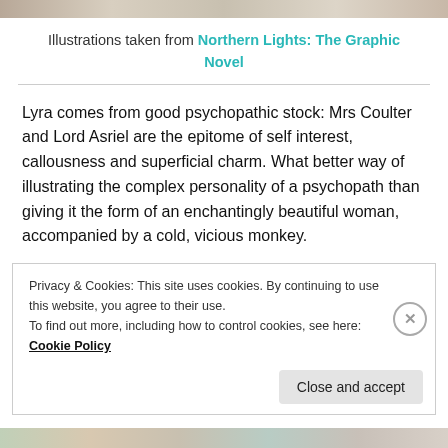[Figure (photo): Top strip showing partial illustration images from the graphic novel]
Illustrations taken from Northern Lights: The Graphic Novel
Lyra comes from good psychopathic stock: Mrs Coulter and Lord Asriel are the epitome of self interest, callousness and superficial charm. What better way of illustrating the complex personality of a psychopath than giving it the form of an enchantingly beautiful woman, accompanied by a cold, vicious monkey.
Privacy & Cookies: This site uses cookies. By continuing to use this website, you agree to their use.
To find out more, including how to control cookies, see here:
Cookie Policy
[Figure (photo): Bottom strip showing partial illustration images from the graphic novel]